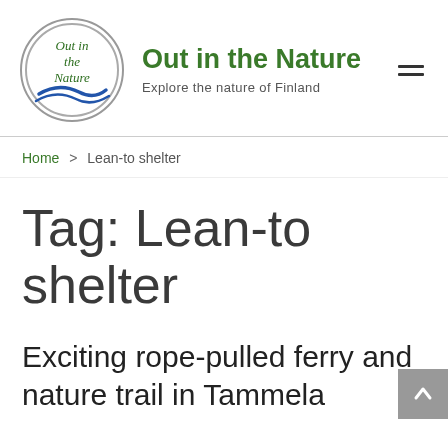Out in the Nature — Explore the nature of Finland
Home > Lean-to shelter
Tag: Lean-to shelter
Exciting rope-pulled ferry and nature trail in Tammela